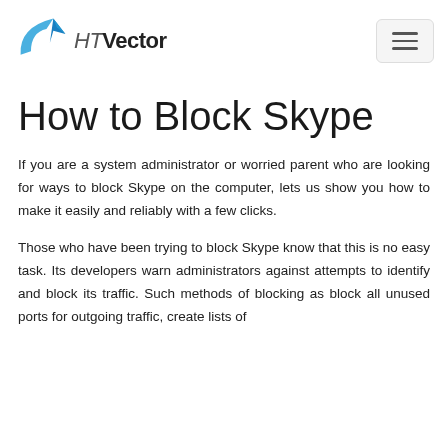HTVector
How to Block Skype
If you are a system administrator or worried parent who are looking for ways to block Skype on the computer, lets us show you how to make it easily and reliably with a few clicks.
Those who have been trying to block Skype know that this is no easy task. Its developers warn administrators against attempts to identify and block its traffic. Such methods of blocking as block all unused ports for outgoing traffic, create lists of